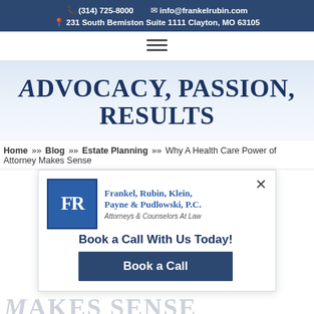(314) 725-8000  info@frankelrubin.com  231 South Bemiston Suite 1111 Clayton, MO 63105
[Figure (other): Hamburger menu icon (three horizontal lines)]
ADVOCACY, PASSION, RESULTS
Home >> Blog >> Estate Planning >> Why A Health Care Power of Attorney Makes Sense
[Figure (other): Law firm popup advertisement for Frankel, Rubin, Klein, Payne & Pudlowski, P.C. — Attorneys & Counselors At Law. Book a Call With Us Today! Book a Call button.]
MAKES SENSE
[Figure (photo): Partial photo strip at bottom of page showing people]